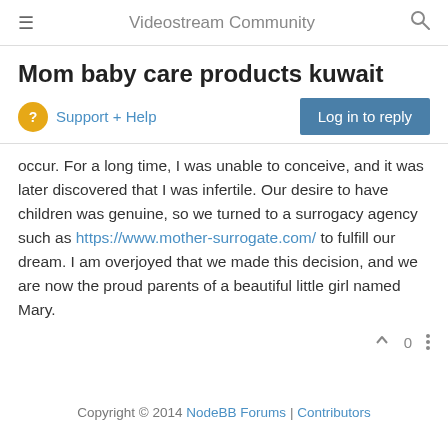Videostream Community
Mom baby care products kuwait
Support + Help
occur. For a long time, I was unable to conceive, and it was later discovered that I was infertile. Our desire to have children was genuine, so we turned to a surrogacy agency such as https://www.mother-surrogate.com/ to fulfill our dream. I am overjoyed that we made this decision, and we are now the proud parents of a beautiful little girl named Mary.
Copyright © 2014 NodeBB Forums | Contributors